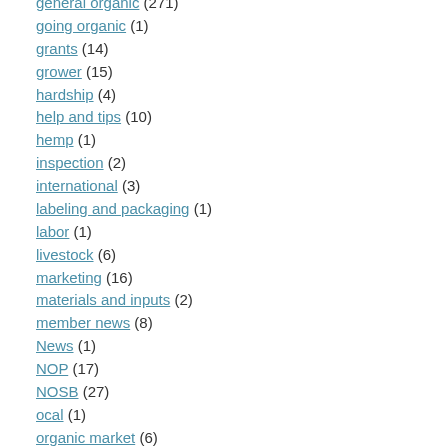general organic (271)
going organic (1)
grants (14)
grower (15)
hardship (4)
help and tips (10)
hemp (1)
inspection (2)
international (3)
labeling and packaging (1)
labor (1)
livestock (6)
marketing (16)
materials and inputs (2)
member news (8)
News (1)
NOP (17)
NOSB (27)
ocal (1)
organic market (6)
organic training institute (6)
Organic Transition Grant (1)
pests and pesticides (7)
policy (102)